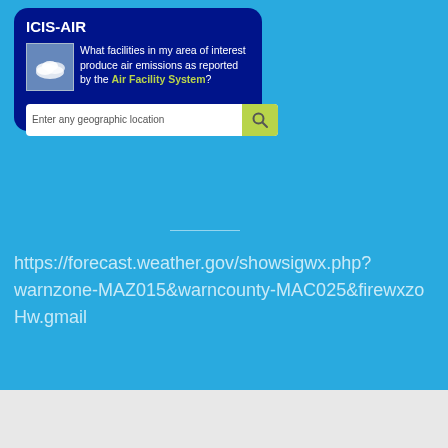ICIS-AIR
What facilities in my area of interest produce air emissions as reported by the Air Facility System?
[Figure (screenshot): Small icon image showing clouds/sky]
Enter any geographic location
https://forecast.weather.gov/showsigwx.php?warnzone-MAZ015&warncounty-MAC025&firewxzo Hw.gmail